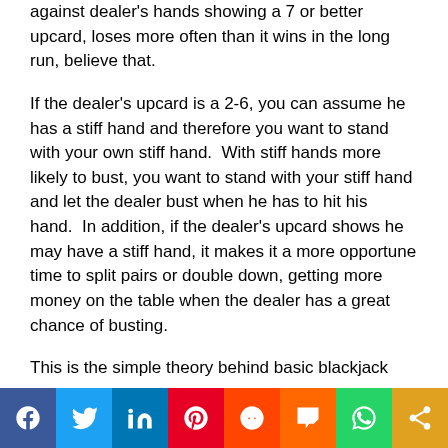against dealer's hands showing a 7 or better upcard, loses more often than it wins in the long run, believe that.
If the dealer's upcard is a 2-6, you can assume he has a stiff hand and therefore you want to stand with your own stiff hand.  With stiff hands more likely to bust, you want to stand with your stiff hand and let the dealer bust when he has to hit his hand.  In addition, if the dealer's upcard shows he may have a stiff hand, it makes it a more opportune time to split pairs or double down, getting more money on the table when the dealer has a great chance of busting.
This is the simple theory behind basic blackjack strategy. Of course, there are many more things to the
f  twitter  in  P  reddit  m  whatsapp  share